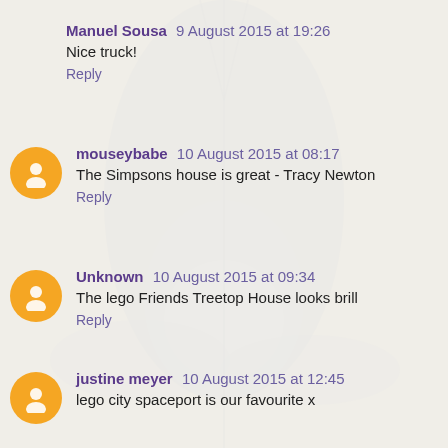Manuel Sousa  9 August 2015 at 19:26
Nice truck!
Reply
mouseybabe  10 August 2015 at 08:17
The Simpsons house is great - Tracy Newton
Reply
Unknown  10 August 2015 at 09:34
The lego Friends Treetop House looks brill
Reply
justine meyer  10 August 2015 at 12:45
lego city spaceport is our favourite x